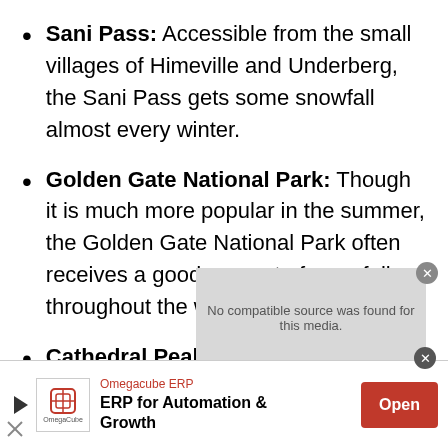Sani Pass: Accessible from the small villages of Himeville and Underberg, the Sani Pass gets some snowfall almost every winter.
Golden Gate National Park: Though it is much more popular in the summer, the Golden Gate National Park often receives a good amount of snowfall throughout the winter months.
Cathedral Peak: For more adventurous
[Figure (screenshot): Video player overlay showing 'No compatible source was found for this media.' message on grey background with close button]
[Figure (infographic): Advertisement banner for Omegacube ERP: 'ERP for Automation & Growth' with Open button]